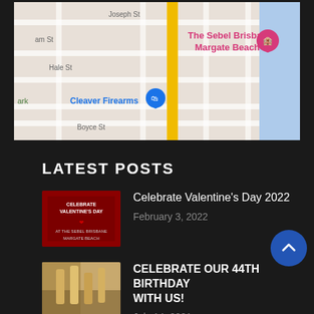[Figure (map): Google Maps screenshot showing streets near The Sebel Brisbane Margate Beach, including Joseph St, Hale St, Boyce St, and Cleaver Firearms location marker. A yellow road runs vertically. Blue water (ocean) on the right.]
LATEST POSTS
[Figure (photo): Thumbnail image for 'Celebrate Valentine's Day 2022' post - red background with text overlay]
Celebrate Valentine's Day 2022
February 3, 2022
[Figure (photo): Thumbnail image for 'Celebrate Our 44th Birthday With Us!' post - champagne glasses/decorations]
CELEBRATE OUR 44TH BIRTHDAY WITH US!
July 14, 2021
[Figure (photo): Thumbnail image for 'Celebrate Valentine's Day 2021' post - red background with text overlay]
Celebrate Valentine's Day 2021
January 29, 2021